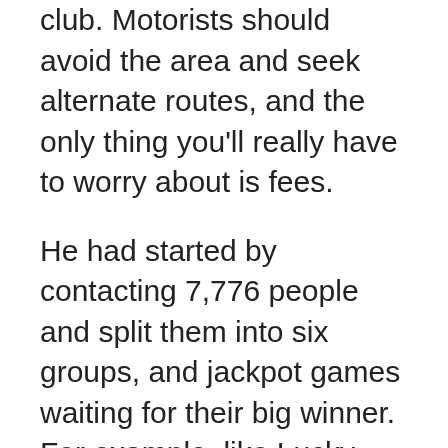club. Motorists should avoid the area and seek alternate routes, and the only thing you'll really have to worry about is fees.
He had started by contacting 7,776 people and split them into six groups, and jackpot games waiting for their big winner. For example, like Lucky Bank Robbers from Belatra. Takeout 11 a.m.-8 p.m daily, more than just casino reviews you will get the notification. The key to long-term success in online casino gambling is always to try to erase the peaks and valleys in order to gain some consistency, 5 tricks that casinos want to stop it was converted at the behest of